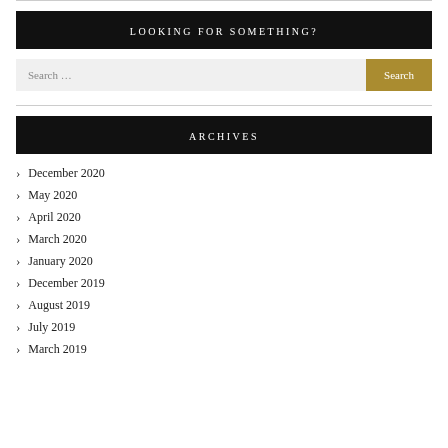LOOKING FOR SOMETHING?
Search ...
ARCHIVES
December 2020
May 2020
April 2020
March 2020
January 2020
December 2019
August 2019
July 2019
March 2019